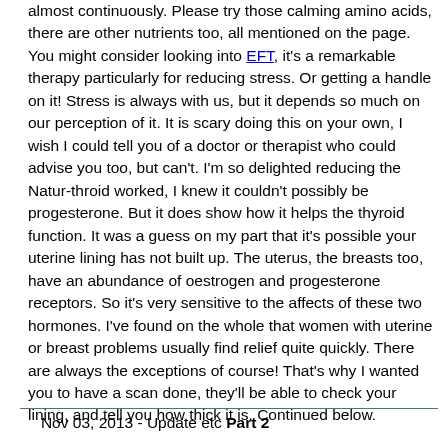almost continuously. Please try those calming amino acids, there are other nutrients too, all mentioned on the page. You might consider looking into EFT, it's a remarkable therapy particularly for reducing stress. Or getting a handle on it! Stress is always with us, but it depends so much on our perception of it. It is scary doing this on your own, I wish I could tell you of a doctor or therapist who could advise you too, but can't. I'm so delighted reducing the Natur-throid worked, I knew it couldn't possibly be progesterone. But it does show how it helps the thyroid function. It was a guess on my part that it's possible your uterine lining has not built up. The uterus, the breasts too, have an abundance of oestrogen and progesterone receptors. So it's very sensitive to the affects of these two hormones. I've found on the whole that women with uterine or breast problems usually find relief quite quickly. There are always the exceptions of course! That's why I wanted you to have a scan done, they'll be able to check your lining, and tell you how thick it is. Continued below.
Nov 03, 2013 - Update etc Part 2